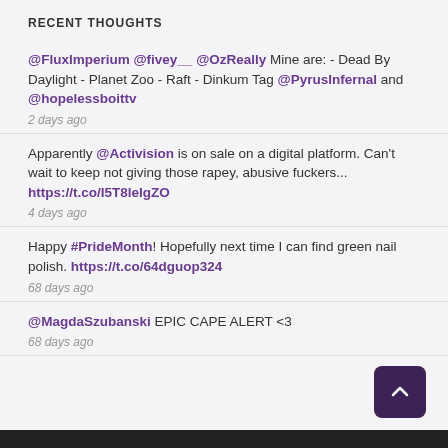RECENT THOUGHTS
@FluxImperium @fivey__ @OzReally Mine are: - Dead By Daylight - Planet Zoo - Raft - Dinkum Tag @PyrusInfernal and @hopelessboittv
2 days ago
Apparently @Activision is on sale on a digital platform. Can't wait to keep not giving those rapey, abusive fuckers... https://t.co/I5T8leIgZO
4 days ago
Happy #PrideMonth! Hopefully next time I can find green nail polish. https://t.co/64dguop324
68 days ago
@MagdaSzubanski EPIC CAPE ALERT <3
68 days ago